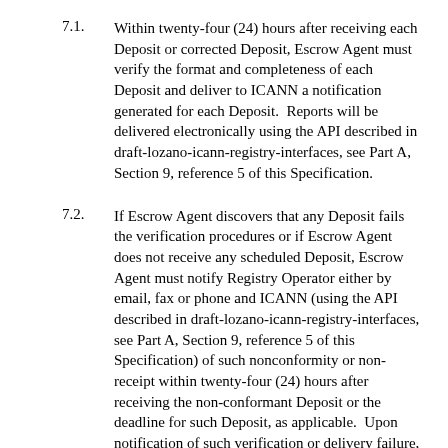7.1. Within twenty-four (24) hours after receiving each Deposit or corrected Deposit, Escrow Agent must verify the format and completeness of each Deposit and deliver to ICANN a notification generated for each Deposit.  Reports will be delivered electronically using the API described in draft-lozano-icann-registry-interfaces, see Part A, Section 9, reference 5 of this Specification.
7.2. If Escrow Agent discovers that any Deposit fails the verification procedures or if Escrow Agent does not receive any scheduled Deposit, Escrow Agent must notify Registry Operator either by email, fax or phone and ICANN (using the API described in draft-lozano-icann-registry-interfaces, see Part A, Section 9, reference 5 of this Specification) of such nonconformity or non-receipt within twenty-four (24) hours after receiving the non-conformant Deposit or the deadline for such Deposit, as applicable.  Upon notification of such verification or delivery failure, Registry Operator must begin developing modifications, updates, corrections, and other fixes of the Deposit necessary for the Deposit to be delivered and pass the verification procedures and deliver such fixes to Escrow Agent as promptly